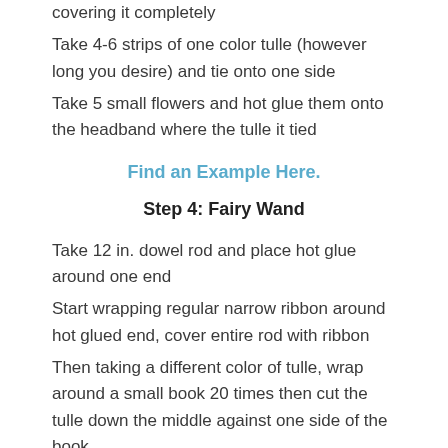covering it completely
Take 4-6 strips of one color tulle (however long you desire) and tie onto one side
Take 5 small flowers and hot glue them onto the headband where the tulle it tied
Find an Example Here.
Step 4: Fairy Wand
Take 12 in. dowel rod and place hot glue around one end
Start wrapping regular narrow ribbon around hot glued end, cover entire rod with ribbon
Then taking a different color of tulle, wrap around a small book 20 times then cut the tulle down the middle against one side of the book